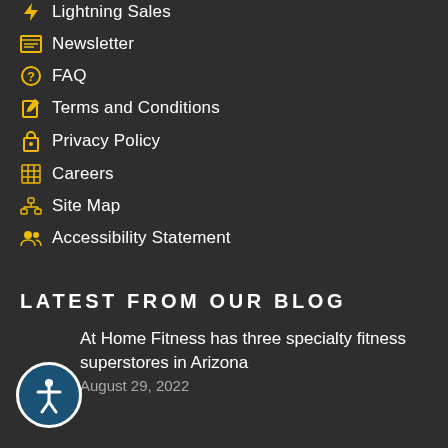Lightning Sales
Newsletter
FAQ
Terms and Conditions
Privacy Policy
Careers
Site Map
Accessibility Statement
Latest From Our Blog
At Home Fitness has three specialty fitness superstores in Arizona
August 29, 2022